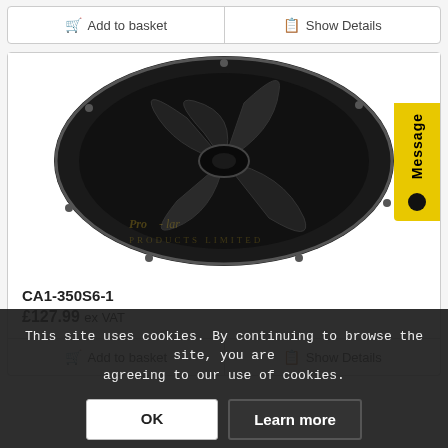Add to basket | Show Details
[Figure (photo): Black axial fan/ventilator with circular mounting flange, viewed from front at slight angle. Watermark visible: Pro-lar Products Limited.]
CA1-350S6-1
£127.99 ex VAT
Add to basket | Show Details
This site uses cookies. By continuing to browse the site, you are agreeing to our use of cookies.
OK
Learn more